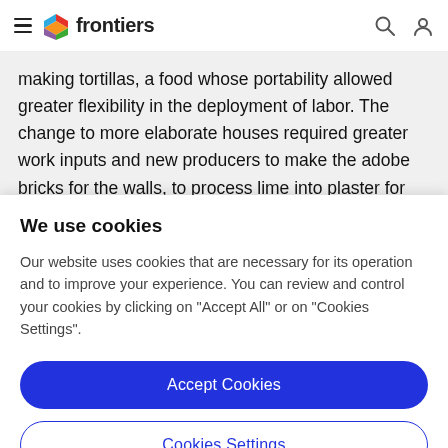frontiers
making tortillas, a food whose portability allowed greater flexibility in the deployment of labor. The change to more elaborate houses required greater work inputs and new producers to make the adobe bricks for the walls, to process lime into plaster for floors, and to cut stone
We use cookies
Our website uses cookies that are necessary for its operation and to improve your experience. You can review and control your cookies by clicking on "Accept All" or on "Cookies Settings".
Accept Cookies
Cookies Settings